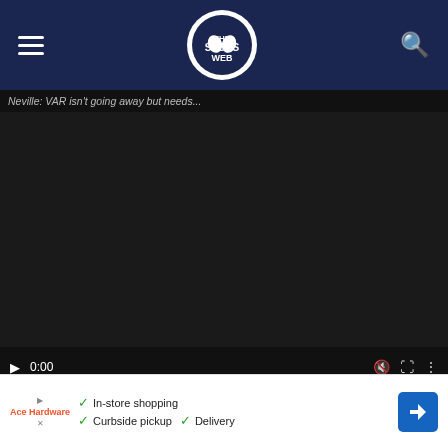The Spurs Web
[Figure (screenshot): Embedded video player showing title 'Neville: VAR isn't going away but needs...' with black video area, playback controls showing 0:00, progress bar, and video thumbnails below including 'Neville: VAR isn't going away but needs...', 'Conte not worried about Son | He's an...', and 'PGMOL meeting - w... is the pur...']
[Figure (screenshot): Advertisement banner at bottom showing store icons (In-store shopping, Curbside pickup, Delivery) with navigation arrow icon, branded with Ace Hardware]